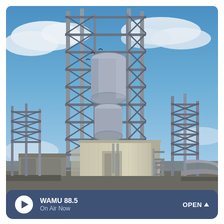[Figure (photo): Upward-angle photograph of a large industrial facility or power plant structure. A tall multi-story steel scaffolding/framework tower dominates the center of the image, with large cylindrical vessels and equipment visible within the steel lattice structure. A beige/tan colored building sits at the base of the tower. Additional steel framework structures are visible on the right side. Blue sky with white clouds serves as the background. Small birds are visible flying in the upper left area of the sky.]
WAMU 88.5 On Air Now OPEN ^